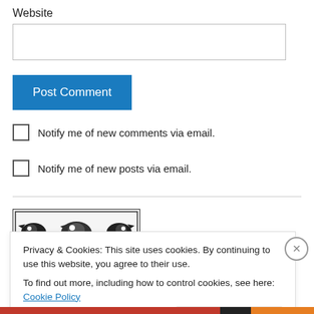Website
[Figure (screenshot): Empty text input field for website URL]
[Figure (screenshot): Blue 'Post Comment' button]
Notify me of new comments via email.
Notify me of new posts via email.
[Figure (illustration): Decorative black and white woodcut-style illustration]
Privacy & Cookies: This site uses cookies. By continuing to use this website, you agree to their use.
To find out more, including how to control cookies, see here: Cookie Policy
Close and accept